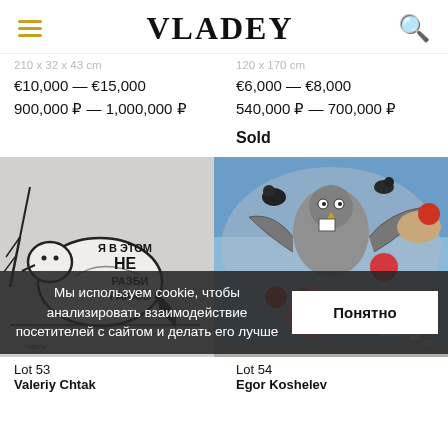VLADEY
210 x 32 x 43 cm
120 x 170 cm
€10,000 — €15,000
900,000 ₽ — 1,000,000 ₽
€6,000 — €8,000
540,000 ₽ — 700,000 ₽
Sold
[Figure (illustration): Line art illustration of a white bird with text in Russian: Я В ЭТОМ НЕ РАЗБИРАЮСЬ on a grey textured background]
[Figure (photo): Colorful painting of various birds including a flamingo, vulture, crow and other birds with red circle motifs on a blue sky background]
Мы используем cookie, чтобы анализировать взаимодействие посетителей с сайтом и делать его лучше
Понятно
Lot 53
Valeriy Chtak
Lot 54
Egor Koshelev